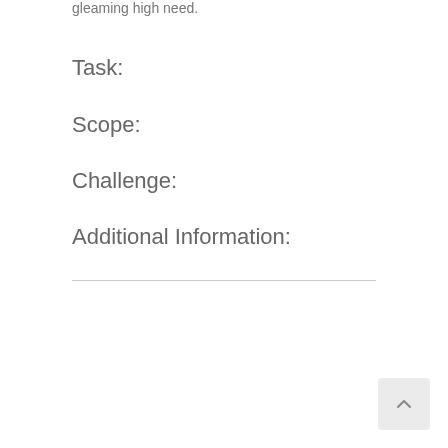gleaming high need.
Task:
Scope:
Challenge:
Additional Information: